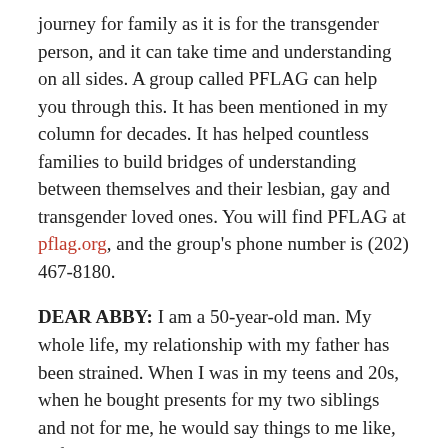journey for family as it is for the transgender person, and it can take time and understanding on all sides. A group called PFLAG can help you through this. It has been mentioned in my column for decades. It has helped countless families to build bridges of understanding between themselves and their lesbian, gay and transgender loved ones. You will find PFLAG at pflag.org, and the group's phone number is (202) 467-8180.
DEAR ABBY: I am a 50-year-old man. My whole life, my relationship with my father has been strained. When I was in my teens and 20s, when he bought presents for my two siblings and not for me, he would say things to me like, “I forgot I had you.”